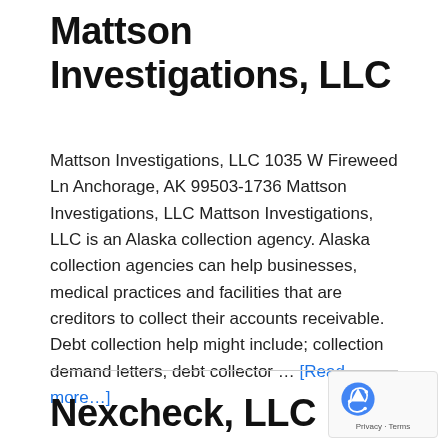Mattson Investigations, LLC
Mattson Investigations, LLC 1035 W Fireweed Ln Anchorage, AK 99503-1736 Mattson Investigations, LLC Mattson Investigations, LLC is an Alaska collection agency. Alaska collection agencies can help businesses, medical practices and facilities that are creditors to collect their accounts receivable. Debt collection help might include; collection demand letters, debt collector … [Read more...]
Nexcheck, LLC